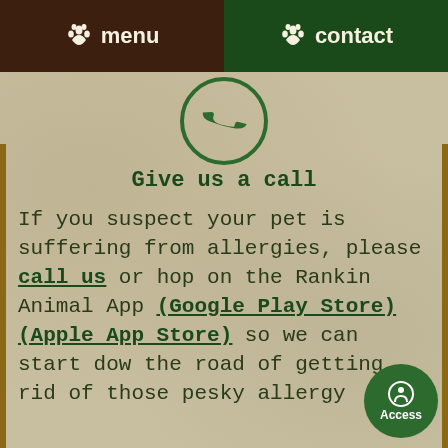menu  |  contact
[Figure (illustration): Green circle with phone handset icon]
Give us a call
If you suspect your pet is suffering from allergies, please call us or hop on the Rankin Animal App (Google Play Store) (Apple App Store) so we can start down the road of getting rid of those pesky allergy